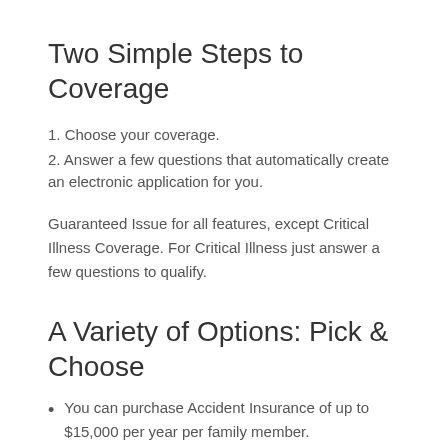Two Simple Steps to Coverage
1. Choose your coverage.
2. Answer a few questions that automatically create an electronic application for you.
Guaranteed Issue for all features, except Critical Illness Coverage. For Critical Illness just answer a few questions to qualify.
A Variety of Options: Pick & Choose
You can purchase Accident Insurance of up to $15,000 per year per family member.